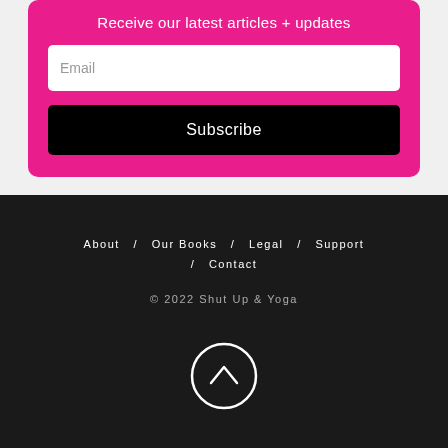Receive our latest articles + updates
Email
Subscribe
About / Our Books / Legal / Support / Contact
© 2022 Shut Up & Yoga
[Figure (illustration): Circle with upward-pointing chevron arrow inside, white outline on dark background]